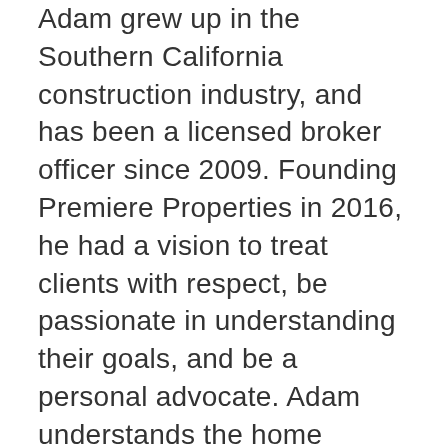Adam grew up in the Southern California construction industry, and has been a licensed broker officer since 2009. Founding Premiere Properties in 2016, he had a vision to treat clients with respect, be passionate in understanding their goals, and be a personal advocate. Adam understands the home building process and that every detail can affect the value of a property. Additionally, Adam is a practicing attorney in both California and Nevada in the fields of real estate and business law. Adam's experience in the courtroom only serves to strengthen his knowledge of real estate and construction. Adam strives to get the deal done and perform for his clients. Adam holds a B.A. in Business Economics from U.C. Santa